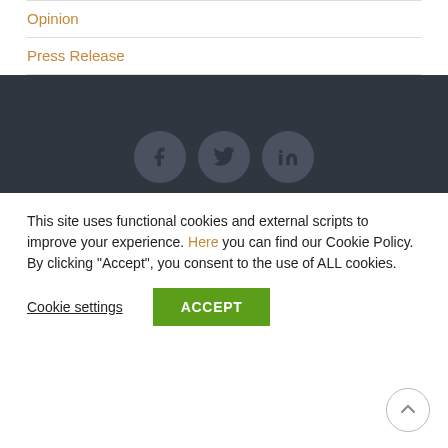Opinion
Press Release
[Figure (other): Dark footer banner with social media icons: Facebook, Twitter, LinkedIn]
This site uses functional cookies and external scripts to improve your experience. Here you can find our Cookie Policy. By clicking “Accept”, you consent to the use of ALL cookies.
Cookie settings   ACCEPT